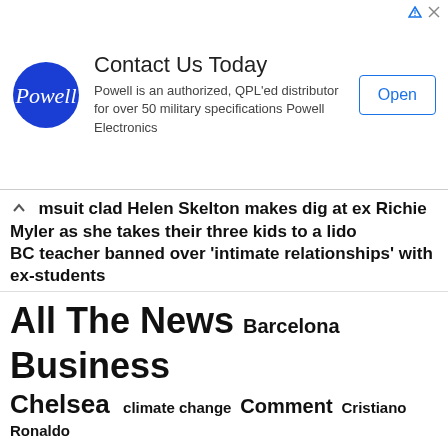[Figure (other): Powell Electronics advertisement banner with logo, 'Contact Us Today' heading, description text, and Open button]
msuit clad Helen Skelton makes dig at ex Richie Myler as she takes their three kids to a lido BC teacher banned over 'intimate relationships' with ex-students
All The News  Barcelona  Business  Chelsea  climate change  Comment  Cristiano Ronaldo  cycling  dailymail  English Premier League  environment  erik ten hag  Featured  Football  Frankie de Jong  Front Page  home page  Italian Serie A  Leeds United  Liverpool  Liverpool F.C.  Liverpool Transfer News & Rumors